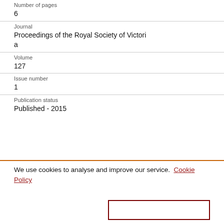Number of pages
6
Journal
Proceedings of the Royal Society of Victoria
Volume
127
Issue number
1
Publication status
Published - 2015
We use cookies to analyse and improve our service. Cookie Policy